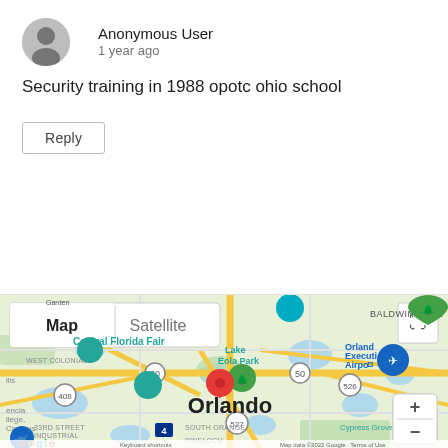[Figure (illustration): Anonymous user avatar silhouette in gray circle]
Anonymous User
1 year ago
Security training in 1988 opotc ohio school
Reply
[Figure (map): Google Maps view of Orlando, Florida area showing Map/Satellite toggle, Central Florida Fair, Lake Eola Park, Baldwin Park, Orlando Executive Airport, South Orange, Pineloch, Cypress Grove Park, 33rd Street Industrial, route markers 408, 526, 527, 50, 4, zoom controls, Street View pegman, and a red location pin over Orlando city center. Map data ©2022 Google.]